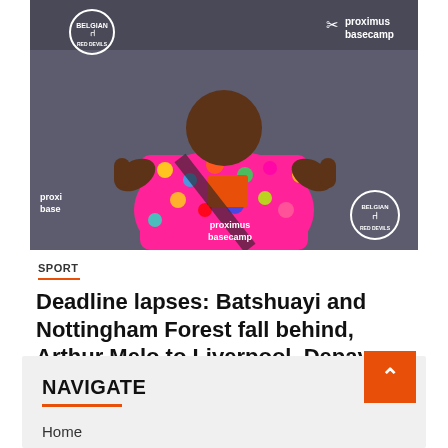[Figure (photo): Man in colorful floral jacket with thumbs up gesture, standing in front of a Proximus Basecamp backdrop with Belgian Red Devils branding]
SPORT
Deadline lapses: Batshuayi and Nottingham Forest fall behind, Arthur Melo to Liverpool, Depay stays | foreign football
September 2, 2022   Yetta Claytone
NAVIGATE
Home